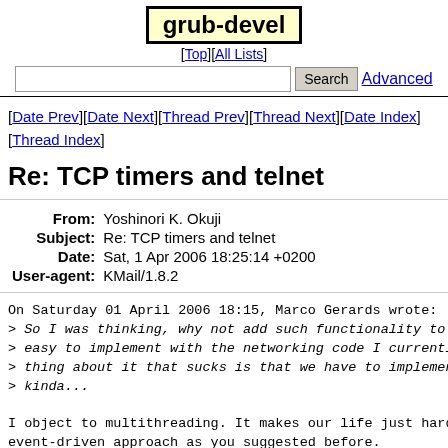grub-devel
[Top][All Lists]
Search  Advanced
[Date Prev][Date Next][Thread Prev][Thread Next][Date Index][Thread Index]
Re: TCP timers and telnet
| Field | Value |
| --- | --- |
| From | Yoshinori K. Okuji |
| Subject | Re: TCP timers and telnet |
| Date | Sat, 1 Apr 2006 18:25:14 +0200 |
| User-agent | KMail/1.8.2 |
On Saturday 01 April 2006 18:15, Marco Gerards wrote:
> So I was thinking, why not add such functionality to GR
> easy to implement with the networking code I currently
> thing about it that sucks is that we have to implement
> kinda...

I object to multithreading. It makes our life just harder
event-driven approach as you suggested before.